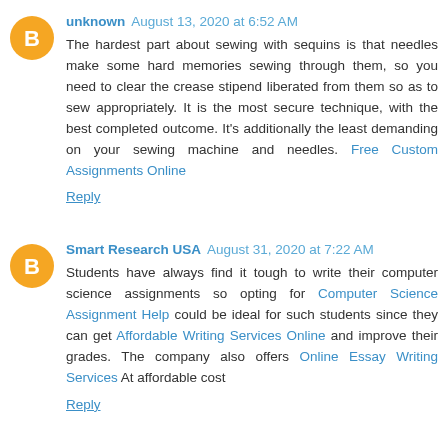unknown August 13, 2020 at 6:52 AM
The hardest part about sewing with sequins is that needles make some hard memories sewing through them, so you need to clear the crease stipend liberated from them so as to sew appropriately. It is the most secure technique, with the best completed outcome. It's additionally the least demanding on your sewing machine and needles. Free Custom Assignments Online
Reply
Smart Research USA August 31, 2020 at 7:22 AM
Students have always find it tough to write their computer science assignments so opting for Computer Science Assignment Help could be ideal for such students since they can get Affordable Writing Services Online and improve their grades. The company also offers Online Essay Writing Services At affordable cost
Reply